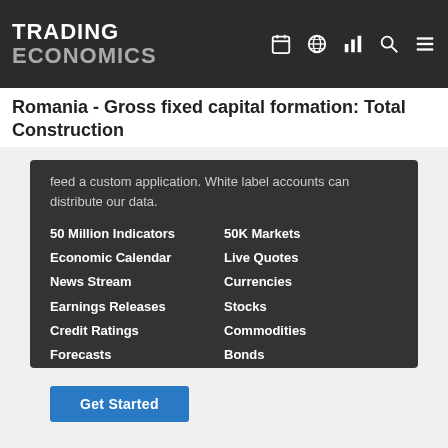TRADING ECONOMICS
Romania - Gross fixed capital formation: Total Construction
feed a custom application. White label accounts can distribute our data.
50 Million Indicators
Economic Calendar
News Stream
Earnings Releases
Credit Ratings
Forecasts
50K Markets
Live Quotes
Currencies
Stocks
Commodities
Bonds
Get Started